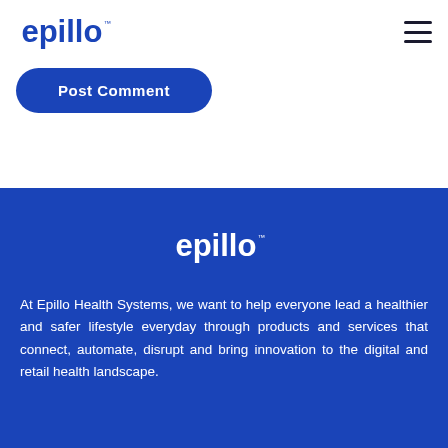[Figure (logo): Epillo logo in dark blue with trademark symbol, top left navigation area]
[Figure (other): Hamburger menu icon (three horizontal lines) in dark color, top right]
Post Comment
[Figure (logo): Epillo logo in white with trademark symbol, centered in the blue footer section]
At Epillo Health Systems, we want to help everyone lead a healthier and safer lifestyle everyday through products and services that connect, automate, disrupt and bring innovation to the digital and retail health landscape.